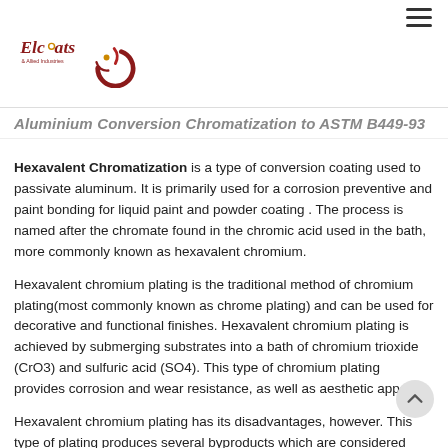Class 3: For protection against corrosion where low electrical resistance is required.
[Figure (logo): Elcoats & Allied Industries logo with stylized swirl and company name in dark red/maroon text]
Aluminium Conversion Chromatization to ASTM B449-93
Hexavalent Chromatization is a type of conversion coating used to passivate aluminum. It is primarily used for a corrosion preventive and paint bonding for liquid paint and powder coating . The process is named after the chromate found in the chromic acid used in the bath, more commonly known as hexavalent chromium.
Hexavalent chromium plating is the traditional method of chromium plating(most commonly known as chrome plating) and can be used for decorative and functional finishes. Hexavalent chromium plating is achieved by submerging substrates into a bath of chromium trioxide (CrO3) and sulfuric acid (SO4). This type of chromium plating provides corrosion and wear resistance, as well as aesthetic appeal.
Hexavalent chromium plating has its disadvantages, however. This type of plating produces several byproducts which are considered